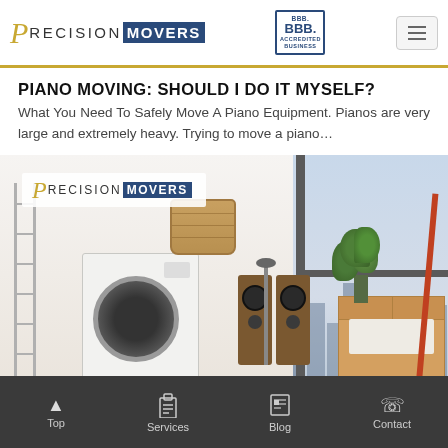Precision Movers — BBB Accredited Business — Navigation menu
PIANO MOVING: SHOULD I DO IT MYSELF?
What You Need To Safely Move A Piano Equipment. Pianos are very large and extremely heavy. Trying to move a piano…
[Figure (photo): Precision Movers logo overlay on a room scene showing a washing machine, cardboard moving boxes, speakers, a basket, a plant, and a window with cityscape behind window pane dividers.]
Top | Services | Blog | Contact